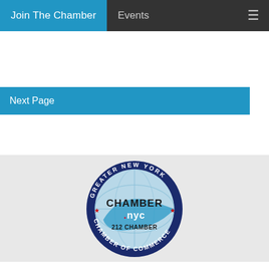Join The Chamber   Events
Next Page
[Figure (logo): Greater New York Chamber of Commerce circular seal logo with text 'CHAMBER .nyc 212 CHAMBER' in the center and 'GREATER NEW YORK' and 'CHAMBER OF COMMERCE' around the ring, with red stars and blue globe design]
The mission of the Chamber is to improve the business climate and quality of living in the New York Metropolitan